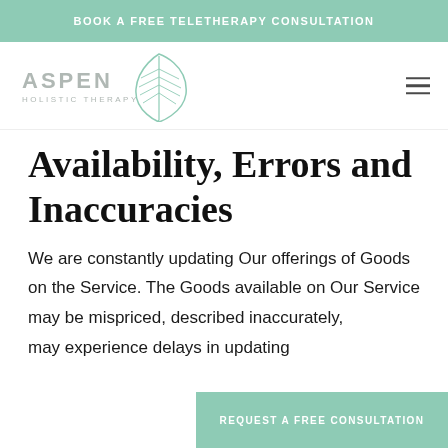BOOK A FREE TELETHERAPY CONSULTATION
[Figure (logo): Aspen Holistic Therapy logo with leaf graphic and text 'ASPEN HOLISTIC THERAPY']
Availability, Errors and Inaccuracies
We are constantly updating Our offerings of Goods on the Service. The Goods available on Our Service may be mispriced, described inaccurately, may experience delays in updating
REQUEST A FREE CONSULTATION